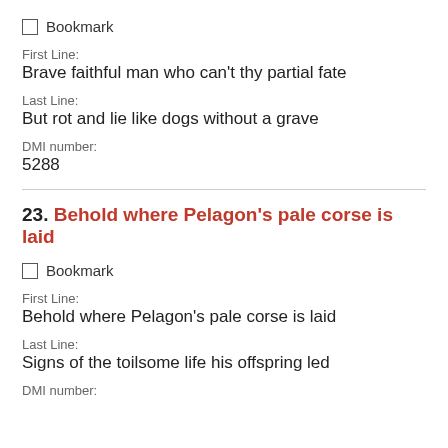Bookmark
First Line:
Brave faithful man who can't thy partial fate
Last Line:
But rot and lie like dogs without a grave
DMI number:
5288
23. Behold where Pelagon's pale corse is laid
Bookmark
First Line:
Behold where Pelagon's pale corse is laid
Last Line:
Signs of the toilsome life his offspring led
DMI number: